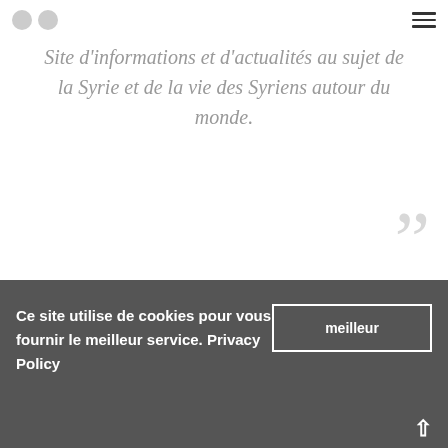Navigation bar with circles and hamburger menu
Site d'informations et d'actualités au sujet de la Syrie et de la vie des Syriens autour du monde.
[Figure (illustration): Large decorative closing double quotation mark in light grey]
SYRIE NEWS
Ce site utilise de cookies pour vous fournir le meilleur service. Privacy Policy
meilleur (button text inside cookie accept button)